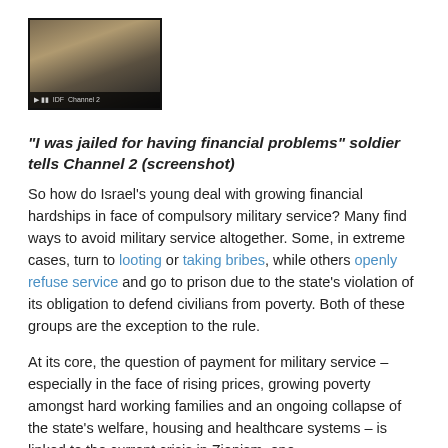[Figure (screenshot): Screenshot of a TV news segment showing soldiers, with a caption bar at the bottom]
“I was jailed for having financial problems” soldier tells Channel 2 (screenshot)
So how do Israel’s young deal with growing financial hardships in face of compulsory military service? Many find ways to avoid military service altogether. Some, in extreme cases, turn to looting or taking bribes, while others openly refuse service and go to prison due to the state’s violation of its obligation to defend civilians from poverty. Both of these groups are the exception to the rule.
At its core, the question of payment for military service – especially in the face of rising prices, growing poverty amongst hard working families and an ongoing collapse of the state’s welfare, housing and healthcare systems – is linked to the current crisis in Zionism, one